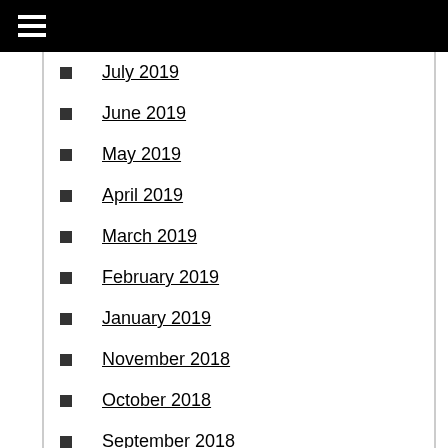July 2019
June 2019
May 2019
April 2019
March 2019
February 2019
January 2019
November 2018
October 2018
September 2018
July 2018
April 2018